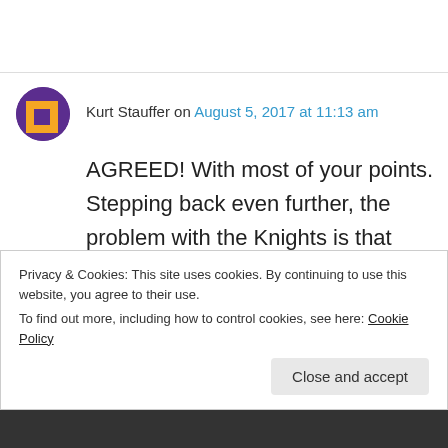Kurt Stauffer on August 5, 2017 at 11:13 am
AGREED! With most of your points. Stepping back even further, the problem with the Knights is that leadership is too paternalistic. A fraternity is fluid, flexible, ever changing. Not from on high but from within the ranks. But I disagree with your assessment of the new regalia. The new
Privacy & Cookies: This site uses cookies. By continuing to use this website, you agree to their use.
To find out more, including how to control cookies, see here: Cookie Policy